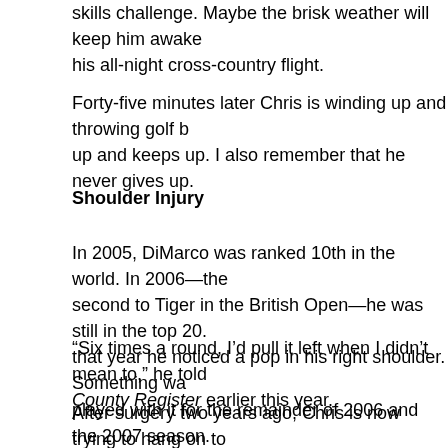skills challenge. Maybe the brisk weather will keep him awake after his all-night cross-country flight.
Forty-five minutes later Chris is winding up and throwing golf balls up and keeps up. I also remember that he never gives up.
Shoulder Injury
In 2005, DiMarco was ranked 10th in the world. In 2006—the second to Tiger in the British Open—he was still in the top 20. that year he noticed a pop in his right shoulder. Something was played with it for the remainder of 2006 and the 2007 season. game went south.
“Six times a round, I’d pull it left when I didn’t mean to,” he told County Register earlier this year.
After surgery two years ago, Chris is now trying to hang on to card. Once a mainstay in the top 20 on the PGA Tour money list 138th, just outside the top 125 who enjoy exempt status. It’s w in the Fall Series and took a red-eye from the Frys.com Open